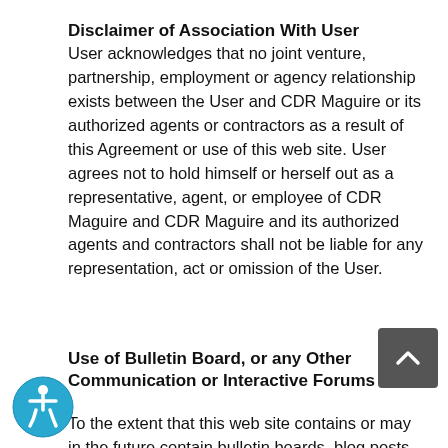Disclaimer of Association With User
User acknowledges that no joint venture, partnership, employment or agency relationship exists between the User and CDR Maguire or its authorized agents or contractors as a result of this Agreement or use of this web site. User agrees not to hold himself or herself out as a representative, agent, or employee of CDR Maguire and CDR Maguire and its authorized agents and contractors shall not be liable for any representation, act or omission of the User.
Use of Bulletin Board, or any Other Communication or Interactive Forums
To the extent that this web site contains or may in the future contain bulletin boards, blog posts, discussion webs, chat rooms,